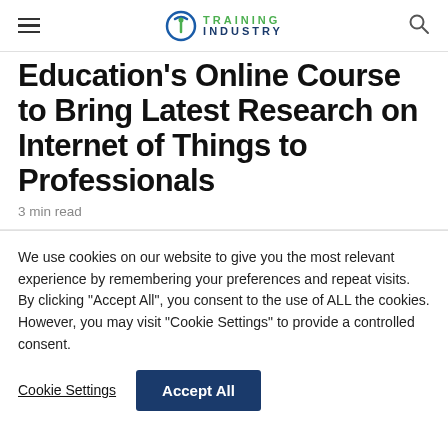Training Industry
Education's Online Course to Bring Latest Research on Internet of Things to Professionals
3 min read
We use cookies on our website to give you the most relevant experience by remembering your preferences and repeat visits. By clicking “Accept All”, you consent to the use of ALL the cookies. However, you may visit “Cookie Settings” to provide a controlled consent.
Cookie Settings | Accept All